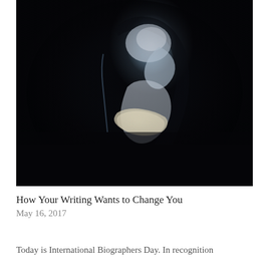[Figure (photo): Artistic dark photograph of a person in profile, illuminated against a black background, appearing to hold or read something with white/blue light highlights creating a dramatic silhouette effect.]
How Your Writing Wants to Change You
May 16, 2017
Today is International Biographers Day. In recognition